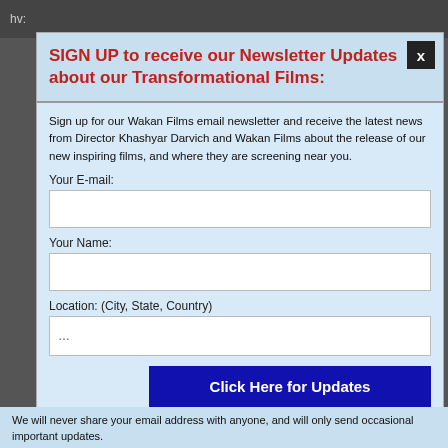hv:
SIGN UP to receive our Newsletter Updates about our Transformational Films:
Sign up for our Wakan Films email newsletter and receive the latest news from Director Khashyar Darvich and Wakan Films about the release of our new inspiring films, and where they are screening near you.
Your E-mail:
Your Name:
Location: (City, State, Country)
Click Here for Updates
We will never share your email address with anyone, and will only send occasional important updates.